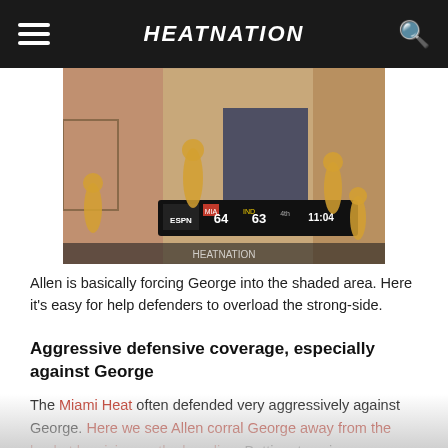HEATNATION
[Figure (screenshot): Basketball game screenshot showing ESPN scoreboard: MIA 64, IND 63, 4th quarter, 11:04 remaining. Players in yellow/gold uniforms visible on court.]
Allen is basically forcing George into the shaded area. Here it's easy for help defenders to overload the strong-side.
Aggressive defensive coverage, especially against George
The Miami Heat often defended very aggressively against George. Here we see Allen corral George away from the basket by giving up the baseline. Battier steps in very quickly to cut off George's drive. Now with this strong-side zone, the two defenders pressurize George whilst also trying to close the passing lane to Scola. As George isn't